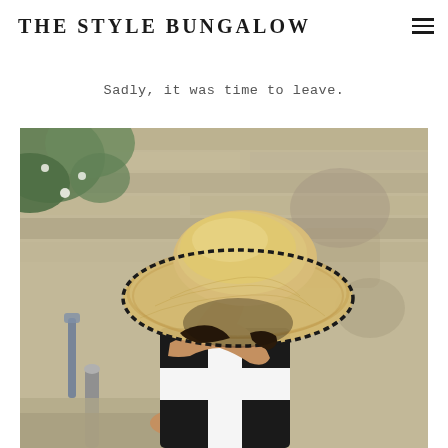THE STYLE BUNGALOW
Sadly, it was time to leave.
[Figure (photo): Woman wearing a large wide-brimmed straw hat with black stitched trim, sitting against a stone wall wearing a black and white color-block dress. The hat covers her face. Mediterranean or coastal European setting.]